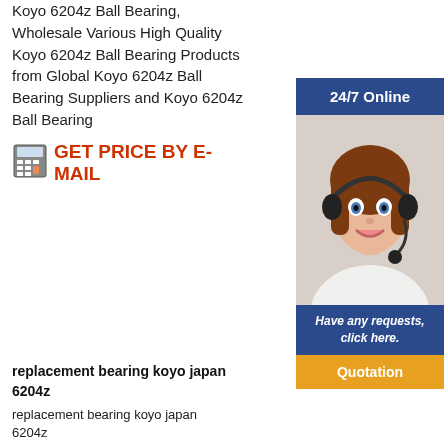Koyo 6204z Ball Bearing, Wholesale Various High Quality Koyo 6204z Ball Bearing Products from Global Koyo 6204z Ball Bearing Suppliers and Koyo 6204z Ball Bearing
GET PRICE BY E-MAIL
[Figure (photo): Customer service agent woman wearing headset, smiling, with 24/7 Online banner, Have any requests click here text, and Quotation button]
replacement bearing koyo japan 6204z
replacement bearing koyo japan 6204z